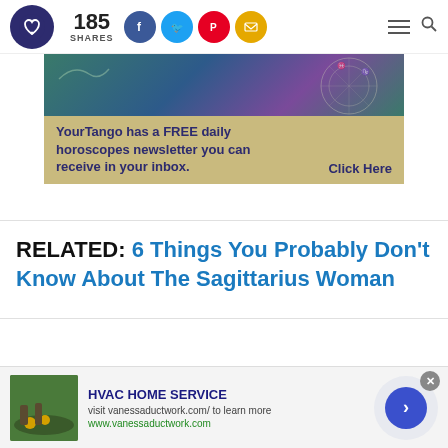YourTango logo | 185 SHARES | social share buttons | navigation
[Figure (screenshot): YourTango horoscope newsletter advertisement banner with zodiac wheel background and tan text area]
YourTango has a FREE daily horoscopes newsletter you can receive in your inbox. Click Here
RELATED: 6 Things You Probably Don't Know About The Sagittarius Woman
[Figure (screenshot): HVAC Home Service advertisement with garden image, title, URL and navigation arrow]